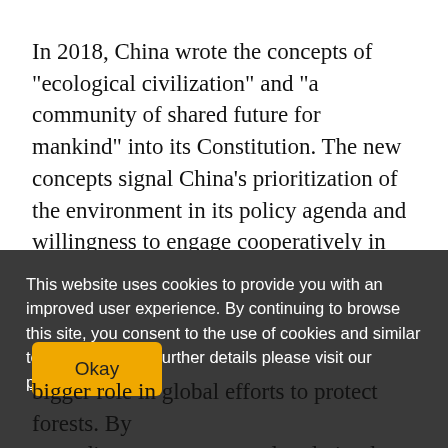In 2018, China wrote the concepts of "ecological civilization" and "a community of shared future for mankind" into its Constitution. The new concepts signal China's prioritization of the environment in its policy agenda and willingness to engage cooperatively in global affairs.
China has emerged in recent years as a leader in [partially obscured by cookie banner]
[Figure (screenshot): Cookie consent overlay banner with dark gray background, white text reading: 'This website uses cookies to provide you with an improved user experience. By continuing to browse this site, you consent to the use of cookies and similar technologies. For further details please visit our privacy policy' — with a yellow 'Okay' button in the bottom left.]
...country has opportunities to play a bigger role in global efforts to protect forests. By extending two programs already in place, China...